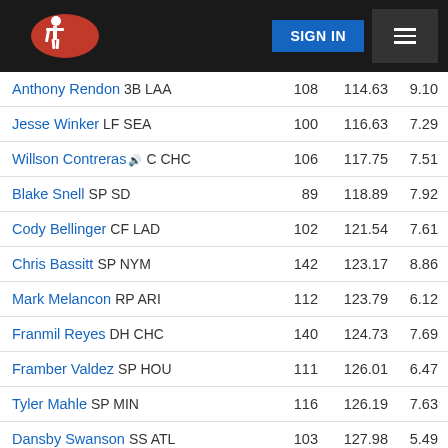[Figure (screenshot): Top navigation bar with hockey player logo on dark background, SIGN IN button and hamburger menu]
| Player |  |  |
| --- | --- | --- |
| Anthony Rendon 3B LAA | 108 | 114.63 | 9.10 |
| Jesse Winker LF SEA | 100 | 116.63 | 7.29 |
| Willson Contreras 🔊 C CHC | 106 | 117.75 | 7.51 |
| Blake Snell SP SD | 89 | 118.89 | 7.92 |
| Cody Bellinger CF LAD | 102 | 121.54 | 7.61 |
| Chris Bassitt SP NYM | 142 | 123.17 | 8.86 |
| Mark Melancon RP ARI | 112 | 123.79 | 6.12 |
| Franmil Reyes DH CHC | 140 | 124.73 | 7.69 |
| Framber Valdez SP HOU | 111 | 126.01 | 6.47 |
| Tyler Mahle SP MIN | 116 | 126.19 | 7.63 |
| Dansby Swanson SS ATL | 103 | 127.98 | 5.49 |
| Sean Manaea SP SD | 127 | 128.66 | 6.24 |
| Myles Straw LF CLE | 129 | 130.17 | 6.37 |